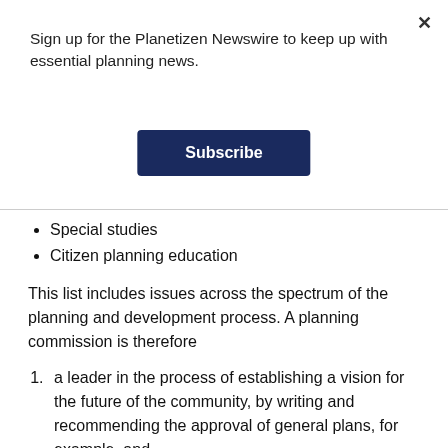Sign up for the Planetizen Newswire to keep up with essential planning news.
Special studies
Citizen planning education
This list includes issues across the spectrum of the planning and development process. A planning commission is therefore
a leader in the process of establishing a vision for the future of the community, by writing and recommending the approval of general plans, for example, and
a public watchdog for the process of implementing that vision, by approving or denying zoning codes,